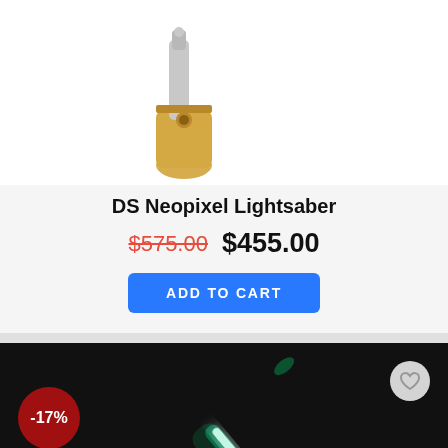[Figure (photo): Partial top view of a gold and silver lightsaber hilt on white background]
DS Neopixel Lightsaber
$575.00  $455.00
ADD TO CART
[Figure (photo): Green glowing lightsaber on dark black background, -17% discount badge, wishlist heart button, OUT OF STOCK label]